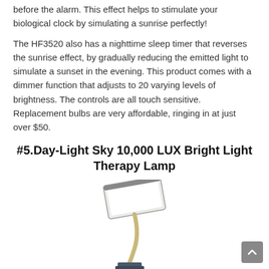before the alarm. This effect helps to stimulate your biological clock by simulating a sunrise perfectly!
The HF3520 also has a nighttime sleep timer that reverses the sunrise effect, by gradually reducing the emitted light to simulate a sunset in the evening. This product comes with a dimmer function that adjusts to 20 varying levels of brightness. The controls are all touch sensitive. Replacement bulbs are very affordable, ringing in at just over $50.
#5.Day-Light Sky 10,000 LUX Bright Light Therapy Lamp
[Figure (photo): Photo of Day-Light Sky 10,000 LUX Bright Light Therapy Lamp — a lamp with a wide rectangular white light panel on a flexible gooseneck arm attached to a small dark square base.]